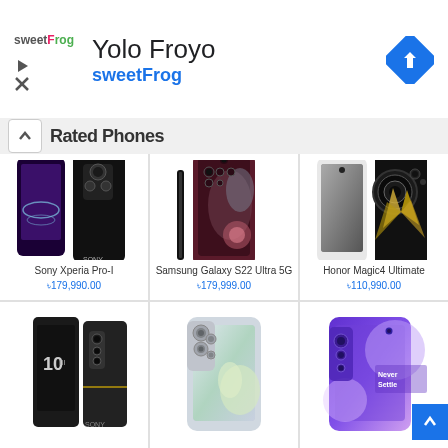[Figure (screenshot): SweetFrog advertisement banner with logo, 'Yolo Froyo' title, 'sweetFrog' subtitle, and navigation diamond icon]
Rated Phones
[Figure (photo): Sony Xperia Pro-I smartphone front and back view]
Sony Xperia Pro-I
৳179,990.00
[Figure (photo): Samsung Galaxy S22 Ultra 5G smartphone with S Pen]
Samsung Galaxy S22 Ultra 5G
৳179,999.00
[Figure (photo): Honor Magic4 Ultimate smartphone front and back view]
Honor Magic4 Ultimate
৳110,990.00
[Figure (photo): Sony Xperia 10 smartphone]
[Figure (photo): Samsung Galaxy S21 Ultra 5G smartphone]
[Figure (photo): OnePlus 8 Pro smartphone with Never Settle branding]